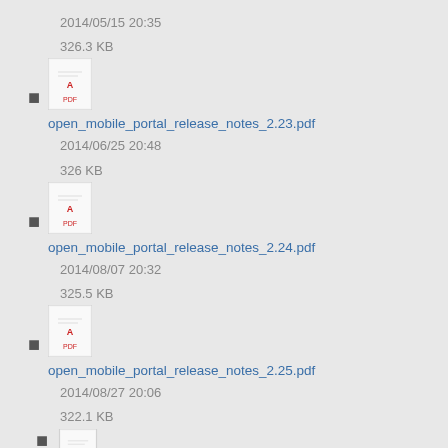2014/05/15 20:35
326.3 KB
open_mobile_portal_release_notes_2.23.pdf
2014/06/25 20:48
326 KB
open_mobile_portal_release_notes_2.24.pdf
2014/08/07 20:32
325.5 KB
open_mobile_portal_release_notes_2.25.pdf
2014/08/27 20:06
322.1 KB